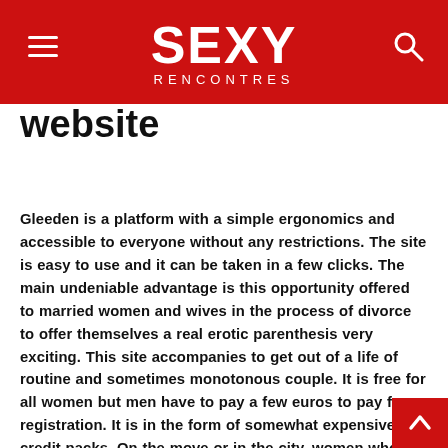SEXY RENCONTRES
website
Gleeden is a platform with a simple ergonomics and accessible to everyone without any restrictions. The site is easy to use and it can be taken in a few clicks. The main undeniable advantage is this opportunity offered to married women and wives in the process of divorce to offer themselves a real erotic parenthesis very exciting. This site accompanies to get out of a life of routine and sometimes monotonous couple. It is free for all women but men have to pay a few euros to pay for registration. It is in the form of somewhat expensive credit packs. On the move or in the city, women who are registered on the site can easily meet the lover of their dream. Women who want to steamy nights and passionate women punctuated by new pleasures make their dream a reality. They renew quickly fails to enter the dance of modernity. There are some fake profiles that will be put off the site soon. The safety of members is not at the top level and there are some fears of leakage of personal data during extramarital